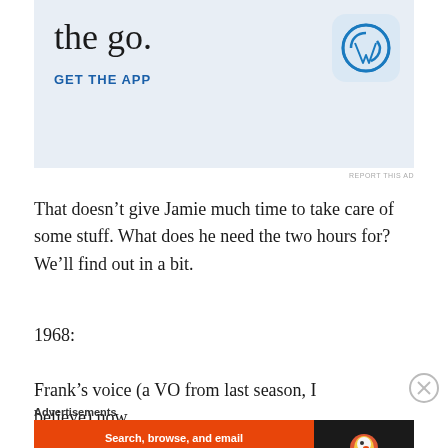[Figure (screenshot): WordPress app advertisement banner with light blue background showing 'the go.' text and 'GET THE APP' link with WordPress logo]
REPORT THIS AD
That doesn’t give Jamie much time to take care of some stuff. What does he need the two hours for? We’ll find out in a bit.
1968:
Frank’s voice (a VO from last season, I believe) now
Advertisements
[Figure (screenshot): DuckDuckGo advertisement banner with orange background: 'Search, browse, and email with more privacy. All in One Free App' with DuckDuckGo logo on dark background]